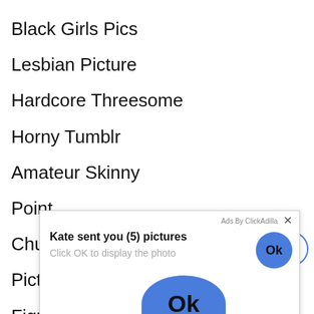Black Girls Pics
Lesbian Picture
Hardcore Threesome
Horny Tumblr
Amateur Skinny
Point
Chub
Pictu
Figur
Tight
[Figure (screenshot): Ad popup from ClickAdilla: 'Kate sent you (5) pictures. Click OK to display the photo.' with an Ok button and a large blue Ok circle at the bottom. A scroll-to-top arrow button appears at the right.]